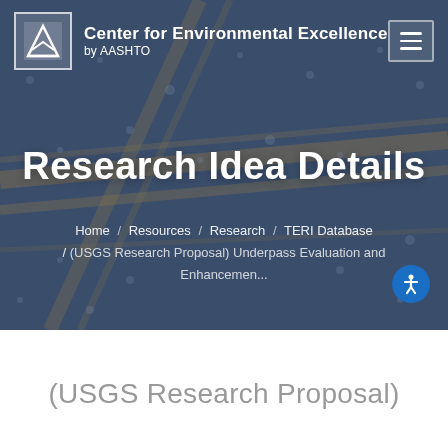Center for Environmental Excellence by AASHTO
Research Idea Details
Home / Resources / Research / TERI Database / (USGS Research Proposal) Underpass Evaluation and Enhancemen...
(USGS Research Proposal)